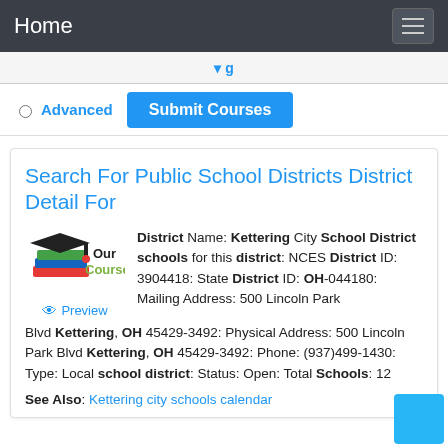Home
Advanced  Submit Courses
Search For Public School Districts District Detail For
[Figure (logo): Our Courses logo with graduation cap and stacked books]
Preview
District Name: Kettering City School District schools for this district: NCES District ID: 3904418: State District ID: OH-044180: Mailing Address: 500 Lincoln Park Blvd Kettering, OH 45429-3492: Physical Address: 500 Lincoln Park Blvd Kettering, OH 45429-3492: Phone: (937)499-1430: Type: Local school district: Status: Open: Total Schools: 12
See Also: Kettering city schools calendar